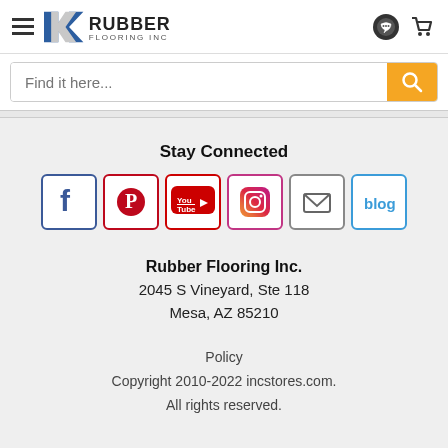[Figure (logo): Rubber Flooring Inc. logo with hamburger menu icon on left]
[Figure (screenshot): Search bar with placeholder text 'Find it here...' and orange search button]
Stay Connected
[Figure (infographic): Row of social media icons: Facebook, Pinterest, YouTube, Instagram, Email, Blog]
Rubber Flooring Inc.
2045 S Vineyard, Ste 118
Mesa, AZ 85210
Policy
Copyright 2010-2022 incstores.com.
All rights reserved.